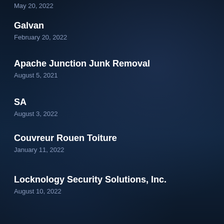May 20, 2022
Galvan
February 20, 2022
Apache Junction Junk Removal
August 5, 2021
SA
August 3, 2022
Couvreur Rouen Toiture
January 11, 2022
Locknology Security Solutions, Inc.
August 10, 2022